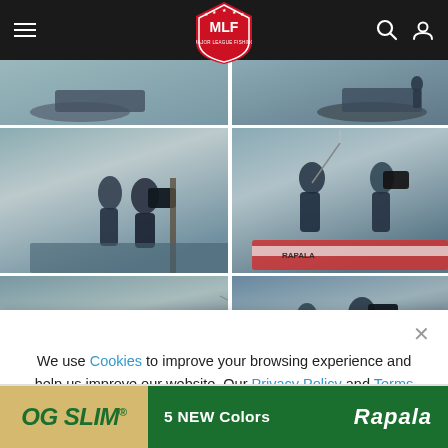MLF Major League Fishing navigation bar
[Figure (photo): Grid of fishing tournament photos: top row shows two fishing boats on a lake; middle row shows anglers being filmed by camera crew on a boat (left) and anglers standing on boat reeling in fish (right); bottom row shows anglers fishing near dock (left) and camera crew filming angler (right)]
We use Cookies to improve your browsing experience and help us improve our website. Our Privacy Policy and Terms of Service have changed. Click OK to agree.
[Figure (other): Red oval OK button]
[Figure (other): Advertisement banner: OG SLIM 5 NEW Colors Rapala]